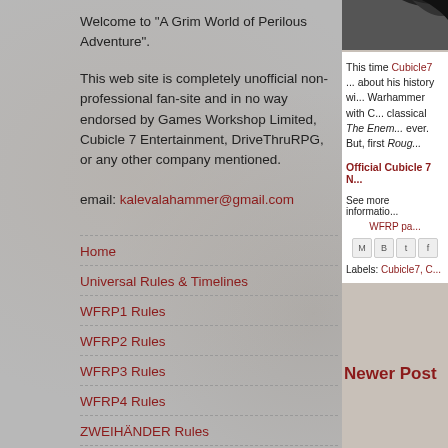Welcome to "A Grim World of Perilous Adventure".
This web site is completely unofficial non-professional fan-site and in no way endorsed by Games Workshop Limited, Cubicle 7 Entertainment, DriveThruRPG, or any other company mentioned.
email: kalevalahammer@gmail.com
Home
Universal Rules & Timelines
WFRP1 Rules
WFRP2 Rules
WFRP3 Rules
WFRP4 Rules
ZWEIHÄNDER Rules
Norsca
Nuln
This time Cubicle7 ... about his history with Warhammer with C... classical The Enem... ever. But, first Roug...
Official Cubicle 7 N...
See more informatio... WFRP pa...
Labels: Cubicle7, C...
Newer Post